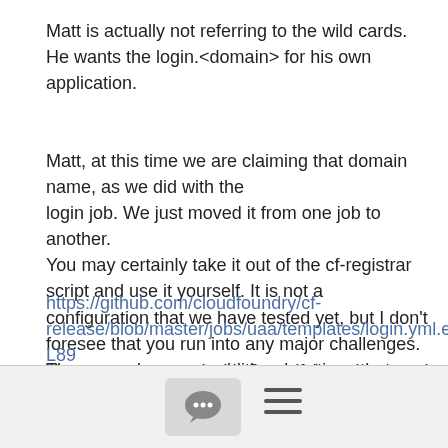Matt is actually not referring to the wild cards. He wants the login.<domain> for his own application.
Matt, at this time we are claiming that domain name, as we did with the
login job. We just moved it from one job to another.
You may certainly take it out of the cf-registrar script and use it yourself. It is not a configuration that we have tested yet, but I don't
foresee that you run into any major challenges.
There may be some additional settings that you may have to tinker with
https://github.com/cloudfoundry/cf-release/blob/master/jobs/uaa/templates/login.yml.erb#L87-L89
You can correspond with Sree, if there is a need for us to completely free
up the login sub domain
[Figure (other): Bottom navigation bar with a chat bubble icon button and a hamburger menu icon]